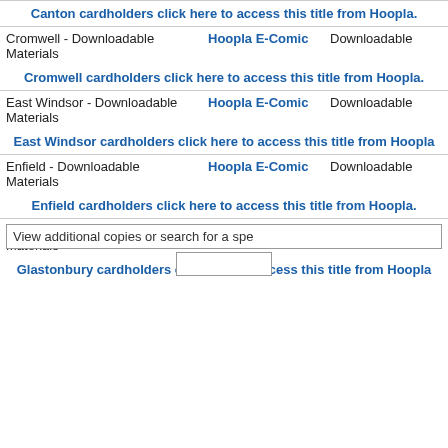| Canton cardholders click here to access this title from Hoopla. |  |  |
| Cromwell - Downloadable Materials | Hoopla E-Comic | Downloadable |
| Cromwell cardholders click here to access this title from Hoopla. |  |  |
| East Windsor - Downloadable Materials | Hoopla E-Comic | Downloadable |
| East Windsor cardholders click here to access this title from Hoopla |  |  |
| Enfield - Downloadable Materials | Hoopla E-Comic | Downloadable |
| Enfield cardholders click here to access this title from Hoopla. |  |  |
| Glastonbury - Downloadable Materials | Hoopla E-Comic | Downloadable |
| Glastonbury cardholders click here to access this title from Hoopla |  |  |
View additional copies or search for a specific copy